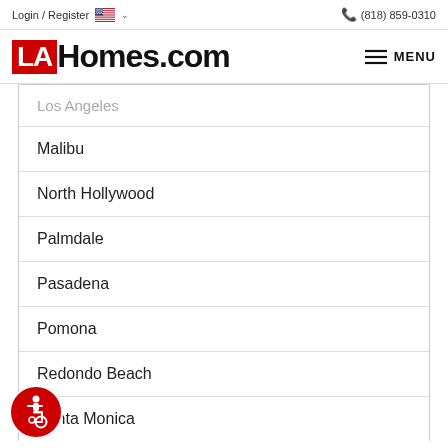Login / Register  🇺🇸 ∨    📞 (818) 859-0310
[Figure (logo): LAHomes.com logo with red LA box and black Homes.com text, with hamburger MENU icon on right]
Los Angeles
Malibu
North Hollywood
Palmdale
Pasadena
Pomona
Redondo Beach
Santa Monica
[Figure (illustration): Accessibility icon button (wheelchair symbol in white on red circle)]